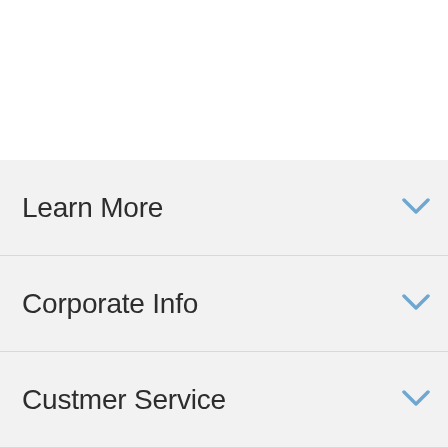Learn More
Corporate Info
Custmer Service
Get Connected